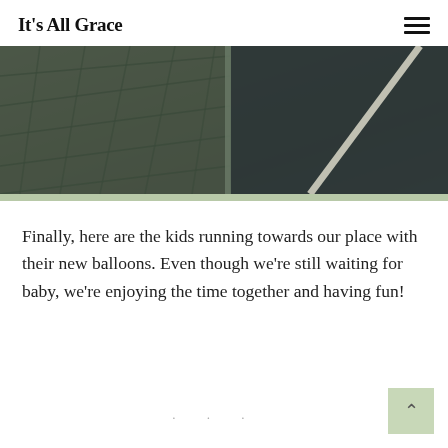It's All Grace
[Figure (photo): Overhead view of a stone/brick sidewalk pavement with dark road surface and a white painted line visible on the right side]
Finally, here are the kids running towards our place with their new balloons. Even though we're still waiting for baby, we're enjoying the time together and having fun!